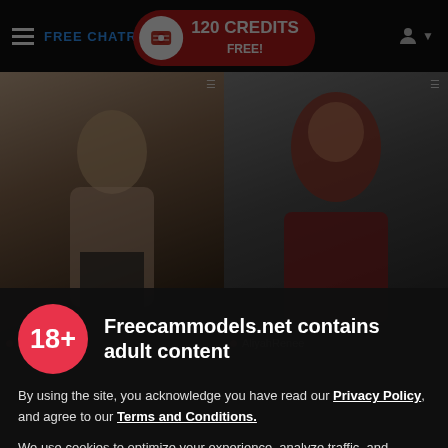FREE CHATROOMS | 120 CREDITS FREE!
[Figure (screenshot): Two live webcam thumbnails side by side. Left shows a young woman in a bedroom. Right shows a woman with curly hair in a red top.]
Freecammodels.net contains adult content
By using the site, you acknowledge you have read our Privacy Policy, and agree to our Terms and Conditions.
We use cookies to optimize your experience, analyze traffic, and deliver more personalized service. To learn more, please see our Privacy Policy.
I AGREE